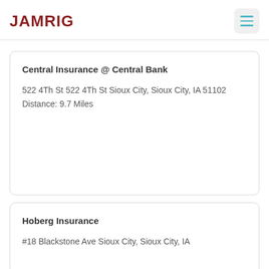JAMRIG
Central Insurance @ Central Bank
522 4Th St 522 4Th St Sioux City, Sioux City, IA 51102
Distance: 9.7 Miles
Hoberg Insurance
#18 Blackstone Ave Sioux City, Sioux City, IA